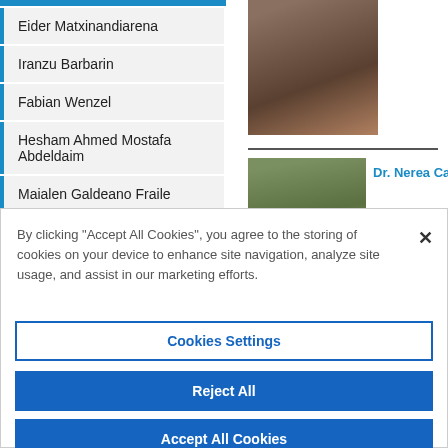Eider Matxinandiarena
Iranzu Barbarin
Fabian Wenzel
Hesham Ahmed Mostafa Abdeldaim
Maialen Galdeano Fraile
[Figure (photo): Portrait photo of a person wearing a colorful scarf and dark jacket]
[Figure (photo): Portrait photo of Dr. Nerea Casade, a woman with dark curly hair]
Dr. Nerea Casade
By clicking “Accept All Cookies”, you agree to the storing of cookies on your device to enhance site navigation, analyze site usage, and assist in our marketing efforts.
Cookies Settings
Reject All
Accept All Cookies